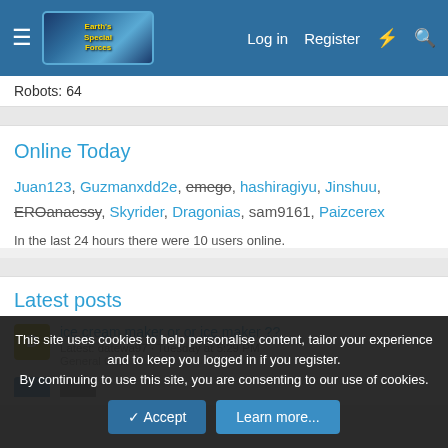Earth's Special Forces forum header with Log in, Register, and search icons
Robots: 64
Online Today
Juan123, Guzmanxdd2e, emego (strikethrough), hashiragiyu, Jinshuu, EROanaessy (strikethrough), Skyrider, Dragonias, sam9161, Paizcerex
In the last 24 hours there were 10 users online.
Latest posts
ice cream maker or or ice maker ?? | Latest: datewa97 · Tuesday at 5:29 PM | General Chat
This site uses cookies to help personalise content, tailor your experience and to keep you logged in if you register. By continuing to use this site, you are consenting to our use of cookies.